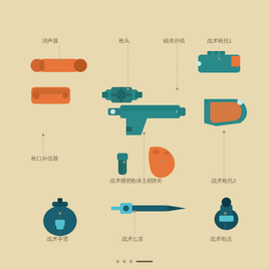[Figure (photo): Product exploded view of toy weapon accessories set including silencer, gun barrel, scope, tactical stock 1, muzzle compensator, tactical grip, magazine, gun body main unit, tactical stock 2, tactical grenade, tactical dagger, and tactical phone. Items are color-coded in orange, teal/dark teal, and light blue. Labels in Chinese with dotted leader lines point to each component.]
消声器
枪头
瞄准倍镜
战术枪托1
枪口补偿器
战术握把
弹夹
枪体主机
战术枪托2
战术手雷
战术匕首
战术电话